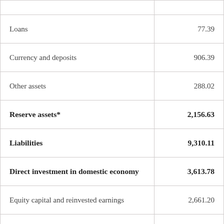|  |  |
| --- | --- |
| Loans | 77.39 |
| Currency and deposits | 906.39 |
| Other assets | 288.02 |
| Reserve assets* | 2,156.63 |
| Liabilities | 9,310.11 |
| Direct investment in domestic economy | 3,613.78 |
| Equity capital and reinvested earnings | 2,661.20 |
| Other capital | 952.58 |